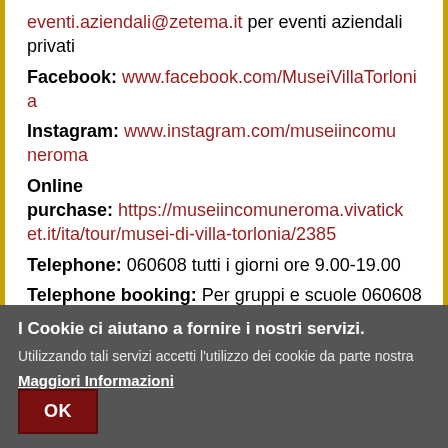eventi.aziendali@zetema.it per eventi aziendali privati
Facebook: www.facebook.com/MuseiVillaTorlonia
Instagram: www.instagram.com/museiincomuNeroma
Online purchase: https://museiincomuneroma.vivatick et.it/ita/tour/musei-di-villa-torlonia/2385
Telephone: 060608 tutti i giorni ore 9.00-19.00
Telephone booking: Per gruppi e scuole 060608 tutti i giorni 9.00-19.00. Con la
I Cookie ci aiutano a fornire i nostri servizi.
Utilizzando tali servizi accetti l'utilizzo dei cookie da parte nostra
Maggiori Informazioni
OK